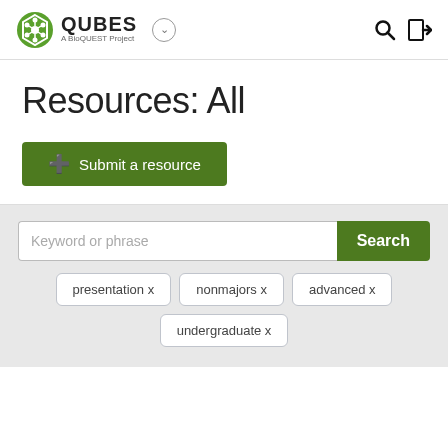[Figure (logo): QUBES logo — green hexagonal molecule icon with text QUBES and subtitle A BioQUEST Project]
Resources: All
+ Submit a resource
Keyword or phrase
Search
presentation x
nonmajors x
advanced x
undergraduate x